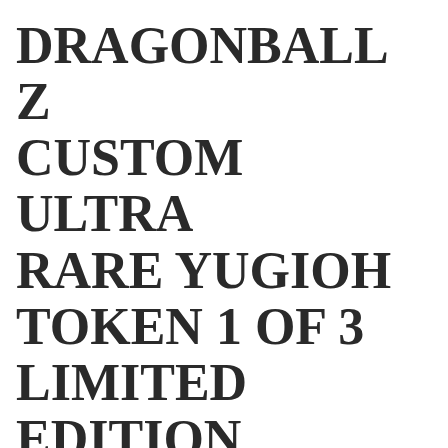DRAGONBALL Z CUSTOM ULTRA RARE YUGIOH TOKEN 1 OF 3 LIMITED EDITION
Collectible Card Games
YuGiOh Trading Card Games   YuGiOh Individual Cards
Dragonball Z Custom Ultra Rare Yugioh Token 1 of 3 Limited Edition